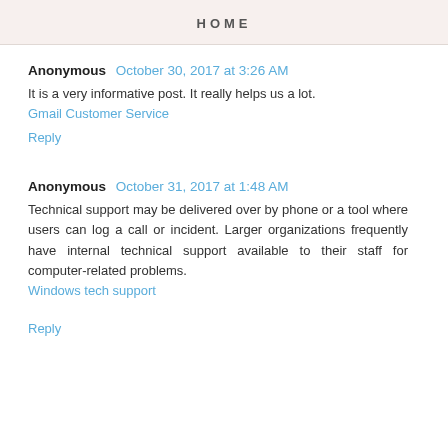HOME
Anonymous  October 30, 2017 at 3:26 AM
It is a very informative post. It really helps us a lot. Gmail Customer Service
Reply
Anonymous  October 31, 2017 at 1:48 AM
Technical support may be delivered over by phone or a tool where users can log a call or incident. Larger organizations frequently have internal technical support available to their staff for computer-related problems. Windows tech support
Reply